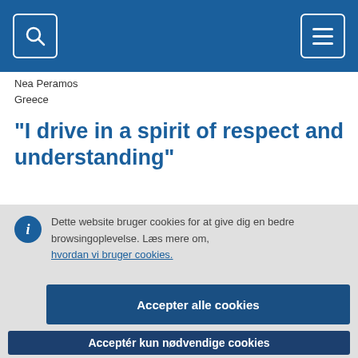[Figure (screenshot): Navigation bar with blue background, search icon button on left and hamburger menu icon button on right]
Nea Peramos
Greece
"I drive in a spirit of respect and understanding"
Dette website bruger cookies for at give dig en bedre browsingoplevelse. Læs mere om, hvordan vi bruger cookies.
Accepter alle cookies
Acceptér kun nødvendige cookies